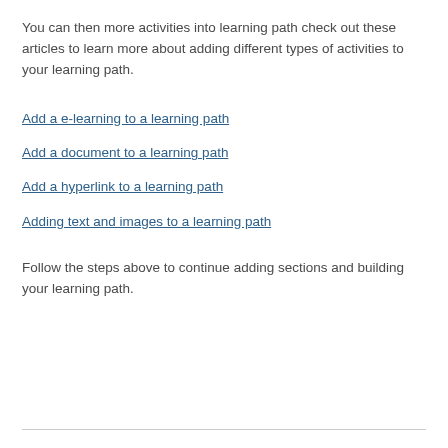You can then more activities into learning path check out these articles to learn more about adding different types of activities to your learning path.
Add a e-learning to a learning path
Add a document to a learning path
Add a hyperlink to a learning path
Adding text and images to a learning path
Follow the steps above to continue adding sections and building your learning path.